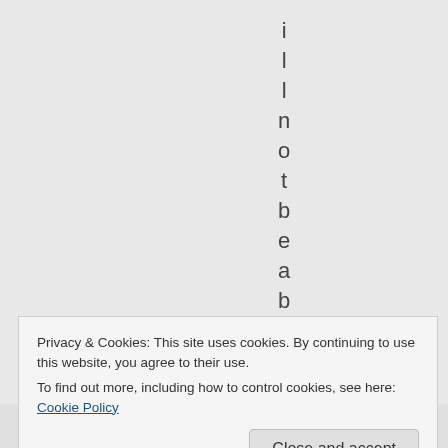i l l n o t b e a b t
Privacy & Cookies: This site uses cookies. By continuing to use this website, you agree to their use. To find out more, including how to control cookies, see here: Cookie Policy
Close and accept
e